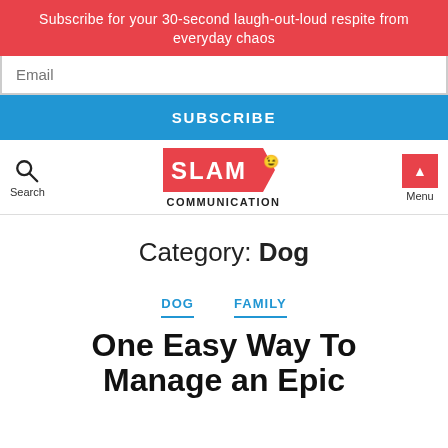Subscribe for your 30-second laugh-out-loud respite from everyday chaos
Email
SUBSCRIBE
[Figure (logo): SLAM Communication logo — red speech bubble badge with SLAM text and smiley]
Category: Dog
DOG   FAMILY
One Easy Way To Manage an Epic